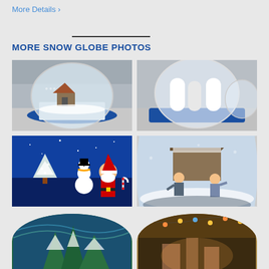More Details ›
MORE SNOW GLOBE PHOTOS
[Figure (photo): Inflatable snow globe with winter house scene inside, blue base, in a warehouse]
[Figure (photo): Large inflatable snow globe with white arch tunnels and blue base, in a warehouse]
[Figure (photo): Christmas scene illustration with Santa Claus, snowman, and Christmas tree on blue background]
[Figure (photo): Children playing inside a large transparent inflatable snow globe]
[Figure (photo): Partial view of inflatable snow globe interior with winter forest scene, circular crop]
[Figure (photo): Interior of decorated room with lights, viewed through circular window, circular crop]